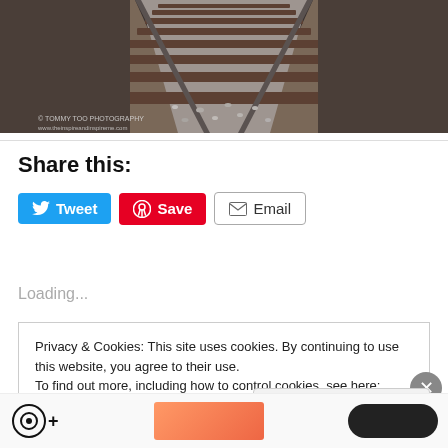[Figure (photo): Close-up photo of railway tracks with gravel/ballast between wooden sleepers, perspective leading away. Watermark: © TOMMY TOO PHOTOGRAPHY www.theinspireandinspireme.com]
Share this:
[Figure (other): Social sharing buttons: Tweet (blue, Twitter icon), Save (red, Pinterest icon), Email (white/grey, envelope icon)]
Loading...
Privacy & Cookies: This site uses cookies. By continuing to use this website, you agree to their use.
To find out more, including how to control cookies, see here: Cookie Policy
Close and accept